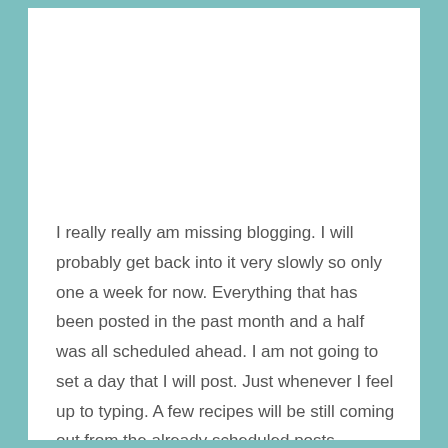I really really am missing blogging. I will probably get back into it very slowly so only one a week for now. Everything that has been posted in the past month and a half was all scheduled ahead. I am not going to set a day that I will post. Just whenever I feel up to typing. A few recipes will be still coming out from the already scheduled posts. Otherwise you can hope to see something from me once a week. Christmas programs